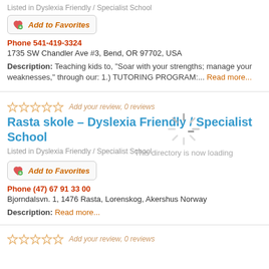Listed in Dyslexia Friendly / Specialist School
Add to Favorites
Phone 541-419-3324
1735 SW Chandler Ave #3, Bend, OR 97702, USA
Description: Teaching kids to, "Soar with your strengths; manage your weaknesses," through our: 1.) TUTORING PROGRAM:... Read more...
Add your review, 0 reviews
Rasta skole – Dyslexia Friendly / Specialist School
Listed in Dyslexia Friendly / Specialist School
This directory is now loading
Add to Favorites
Phone (47) 67 91 33 00
Bjorndalsvn. 1, 1476 Rasta, Lorenskog, Akershus Norway
Description: Read more...
Add your review, 0 reviews